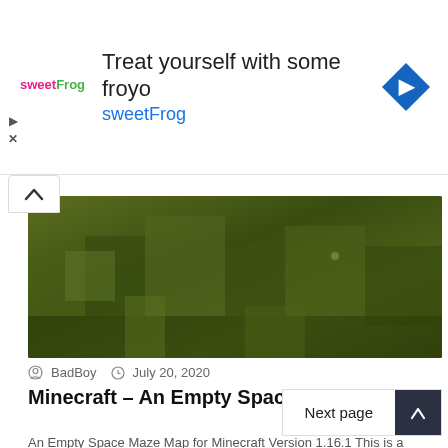[Figure (screenshot): Advertisement banner for sweetFrog frozen yogurt with logo, tagline 'Treat yourself with some froyo', and navigation arrow icon]
[Figure (photo): Minecraft maze map screenshot showing green/dark maze blocks from aerial perspective]
BadBoy  July 20, 2020
Minecraft – An Empty Space Maze Map
An Empty Space Maze Map for Minecraft Version 1.16.1 This is a unique story-based maze map, containing 5 different mazes,...
Download »
Next page